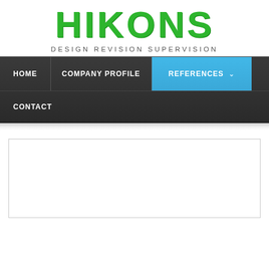HIKONS
DESIGN REVISION SUPERVISION
[Figure (screenshot): Website navigation bar with dark background. Menu items: HOME, COMPANY PROFILE, REFERENCES (highlighted in blue with dropdown arrow), CONTACT]
[Figure (other): Empty white content box with border, representing a content area on the webpage]